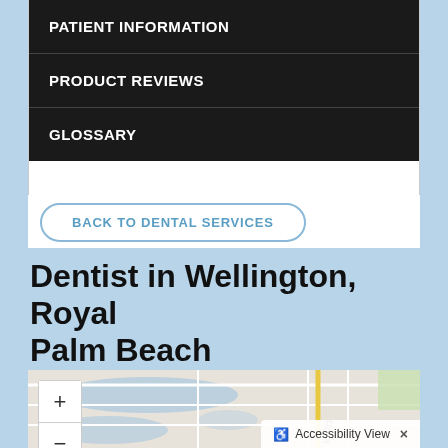PATIENT INFORMATION
PRODUCT REVIEWS
GLOSSARY
BACK TO DENTAL SERVICES
Dentist in Wellington, Royal Palm Beach
Find us on the map
[Figure (map): Interactive map showing location in Wellington, Royal Palm Beach area with zoom controls and accessibility view option]